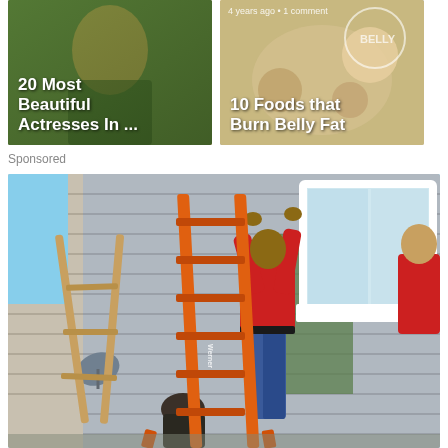[Figure (photo): Thumbnail image of woman in green dress, article titled '20 Most Beautiful Actresses In ...']
[Figure (photo): Thumbnail image of foods, article titled '10 Foods that Burn Belly Fat', with meta text '4 years ago • 1 comment']
Sponsored
[Figure (photo): Photo of workers installing a window on a house exterior, using an orange ladder. A person in a red shirt is holding the window frame while others assist below.]